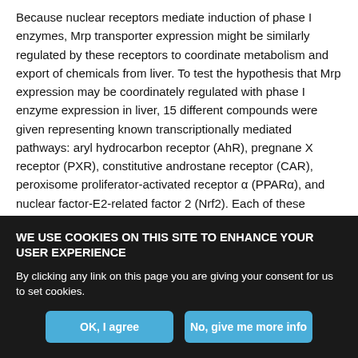Because nuclear receptors mediate induction of phase I enzymes, Mrp transporter expression might be similarly regulated by these receptors to coordinate metabolism and export of chemicals from liver. To test the hypothesis that Mrp expression may be coordinately regulated with phase I enzyme expression in liver, 15 different compounds were given representing known transcriptionally mediated pathways: aryl hydrocarbon receptor (AhR), pregnane X receptor (PXR), constitutive androstane receptor (CAR), peroxisome proliferator-activated receptor α (PPARα), and nuclear factor-E2-related factor 2 (Nrf2). Each of these compounds induced expression of their respective target enzyme in liver, demonstrating that the
WE USE COOKIES ON THIS SITE TO ENHANCE YOUR USER EXPERIENCE
By clicking any link on this page you are giving your consent for us to set cookies.
OK, I agree
No, give me more info